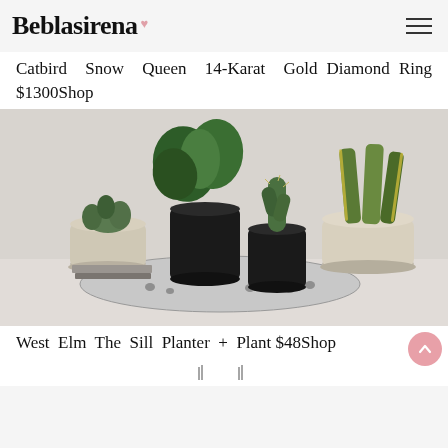Beblasirena
Catbird Snow Queen 14-Karat Gold Diamond Ring $1300Shop
[Figure (photo): Photo of three potted houseplants on a tray with a patterned cloth: a small succulent in a cream pot, a tall leafy green plant in a black pot, a cactus in a black cylindrical pot, and a snake plant in a cream pot. Light grey background.]
West Elm The Sill Planter + Plant $48Shop